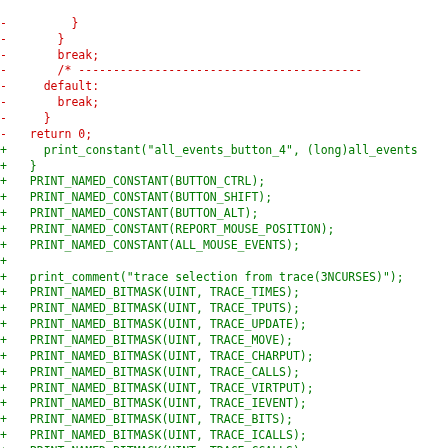Code diff showing removed lines (red, starting with -) and added lines (green, starting with +) in a C source file dealing with ncurses constants and bitmasks.